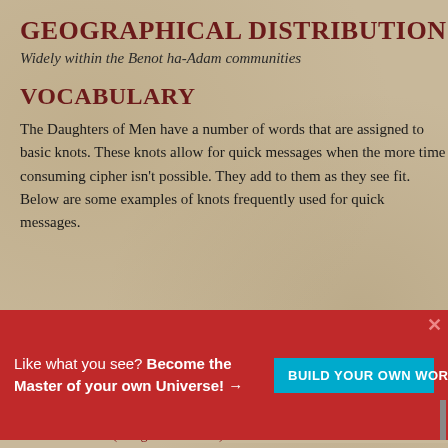Geographical Distribution
Widely within the Benot ha-Adam communities
Vocabulary
The Daughters of Men have a number of words that are assigned to basic knots. These knots allow for quick messages when the more time consuming cipher isn't possible. They add to them as they see fit. Below are some examples of knots frequently used for quick messages.
[Figure (illustration): Five decorative knots displayed in a white box: a pink/magenta overhand knot, an orange reef knot, a green figure-eight knot, a dark blue/grey square knot, and a purple ring/loop knot.]
Like what you see? Become the Master of your own Universe! →
BUILD YOUR OWN WORLD
Spoken by
Benot ha-Adam (Daughters of Men)